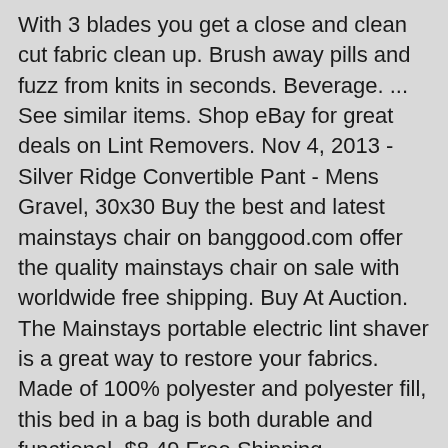With 3 blades you get a close and clean cut fabric clean up. Brush away pills and fuzz from knits in seconds. Beverage. ... See similar items. Shop eBay for great deals on Lint Removers. Nov 4, 2013 - Silver Ridge Convertible Pant - Mens Gravel, 30x30 Buy the best and latest mainstays chair on banggood.com offer the quality mainstays chair on sale with worldwide free shipping. Buy At Auction. The Mainstays portable electric lint shaver is a great way to restore your fabrics. Made of 100% polyester and polyester fill, this bed in a bag is both durable and functional. $8.49 Free Shipping ... Mainstays Spiral Large Hamper. 4071-G - RivalB® 32 Oz. LENOX HOLIDAY Tablecloth Kemp Beatley Embroidery 65"x114" Rectangle. Get all of the products you love at supermarket prices when you shop from any Checkers store near you. Green Hot Pot Manual; 4071-C - RivalB® 32 Oz. Indoor Furnishing, Coffee Maker user manuals, operating guides & specifications BJ22.57 postage. MORE Welcome